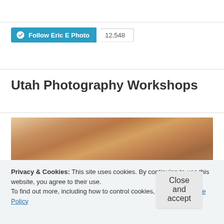[Figure (screenshot): WordPress Follow button for Eric E Photo blog with follower count 12,548]
Utah Photography Workshops
[Figure (photo): Aerial/landscape photograph showing sandy, rocky Utah terrain with warm earth tones]
Privacy & Cookies: This site uses cookies. By continuing to use this website, you agree to their use.
To find out more, including how to control cookies, see here: Cookie Policy
Close and accept